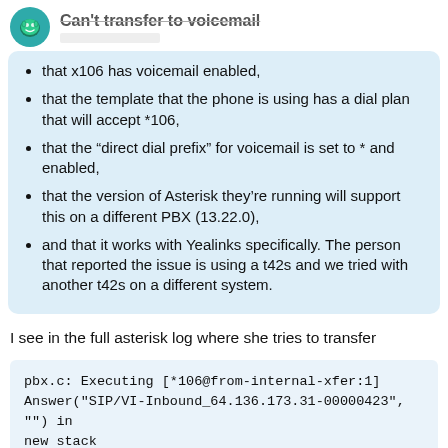Can't transfer to voicemail
that x106 has voicemail enabled,
that the template that the phone is using has a dial plan that will accept *106,
that the “direct dial prefix” for voicemail is set to * and enabled,
that the version of Asterisk they’re running will support this on a different PBX (13.22.0),
and that it works with Yealinks specifically. The person that reported the issue is using a t42s and we tried with another t42s on a different system.
I see in the full asterisk log where she tries to transfer
pbx.c: Executing [*106@from-internal-xfer:1] Answer("SIP/VI-Inbound_64.136.173.31-00000423", "") in new stack
then a few lines further down i see the whe call as a "bad-number" and then starts the
1 / 9